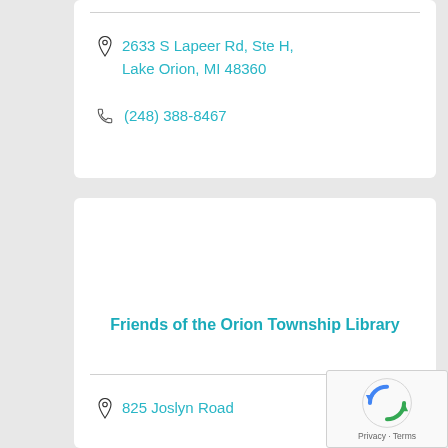2633 S Lapeer Rd, Ste H, Lake Orion, MI 48360
(248) 388-8467
Friends of the Orion Township Library
825 Joslyn Road